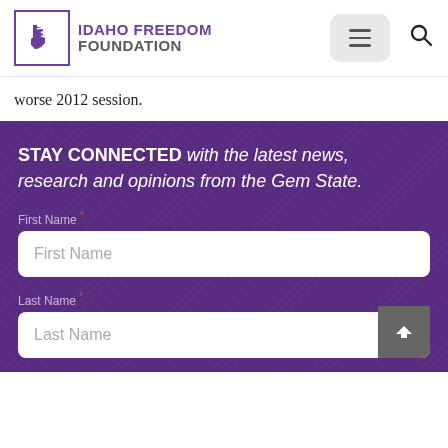Idaho Freedom Foundation
worse 2012 session.
STAY CONNECTED with the latest news, research and opinions from the Gem State.
First Name *
First Name
Last Name *
Last Name